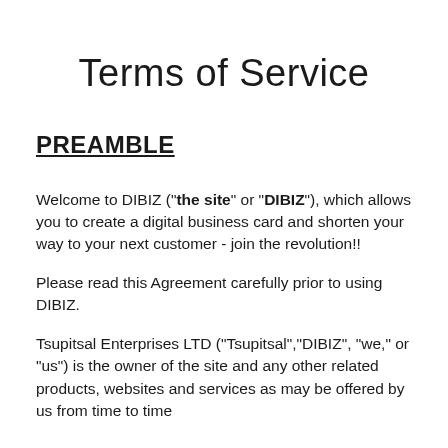Terms of Service
PREAMBLE
Welcome to DIBIZ ("the site" or "DIBIZ"), which allows you to create a digital business card and shorten your way to your next customer - join the revolution!!
Please read this Agreement carefully prior to using DIBIZ.
Tsupitsal Enterprises LTD ("Tsupitsal","DIBIZ", "we," or "us") is the owner of the site and any other related products, websites and services as may be offered by us from time to time